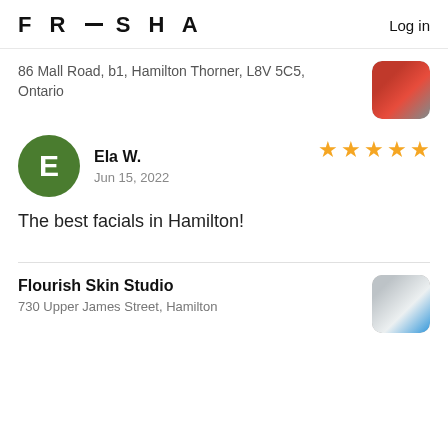FRESHA  Log in
86 Mall Road, b1, Hamilton Thorner, L8V 5C5, Ontario
Ela W.
Jun 15, 2022
★★★★★
The best facials in Hamilton!
Flourish Skin Studio
730 Upper James Street, Hamilton